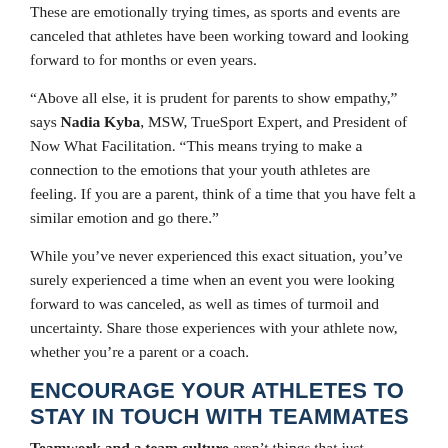These are emotionally trying times, as sports and events are canceled that athletes have been working toward and looking forward to for months or even years.
“Above all else, it is prudent for parents to show empathy,” says Nadia Kyba, MSW, TrueSport Expert, and President of Now What Facilitation. “This means trying to make a connection to the emotions that your youth athletes are feeling. If you are a parent, think of a time that you have felt a similar emotion and go there.”
While you’ve never experienced this exact situation, you’ve surely experienced a time when an event you were looking forward to was canceled, as well as times of turmoil and uncertainty. Share those experiences with your athlete now, whether you’re a parent or a coach.
ENCOURAGE YOUR ATHLETES TO STAY IN TOUCH WITH TEAMMATES
Teamwork and a team culture aren’t things that just